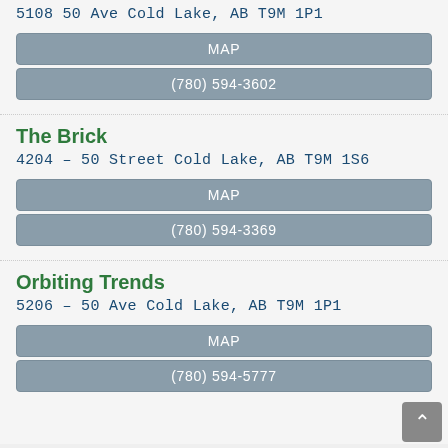5108 50 Ave Cold Lake, AB T9M 1P1
MAP
(780) 594-3602
The Brick
4204 – 50 Street Cold Lake, AB T9M 1S6
MAP
(780) 594-3369
Orbiting Trends
5206 – 50 Ave Cold Lake, AB T9M 1P1
MAP
(780) 594-5777